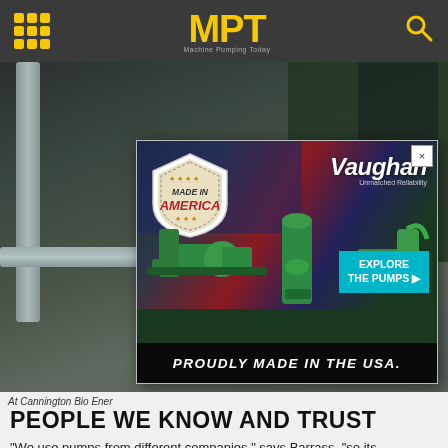MPT — Machine Pumping Today
[Figure (photo): Industrial facility interior showing pipes and equipment at Cannington Bio Energy site, with a Vaughan 'Made in America' pump advertisement overlay.]
At Cannington Bio Ener[gy]
PEOPLE WE KNOW AND TRUST
“We use pumps from different companies,” says Barrass, “so its